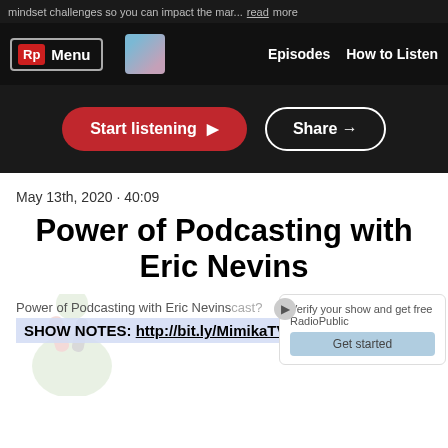mindset challenges so you can impact the mar... read more
Rp Menu | Episodes | How to Listen
[Figure (screenshot): Dark navigation bar with RadioPublic Rp logo and Menu button, podcast thumbnail, Episodes and How to Listen links]
[Figure (screenshot): Dark section with red Start listening button and white Share button]
May 13th, 2020 · 40:09
Power of Podcasting with Eric Nevins
Power of Podcasting with Eric Nevinscast?
SHOW NOTES: http://bit.ly/MimikaTV57
Verify your show and get free RadioPublic
Get started